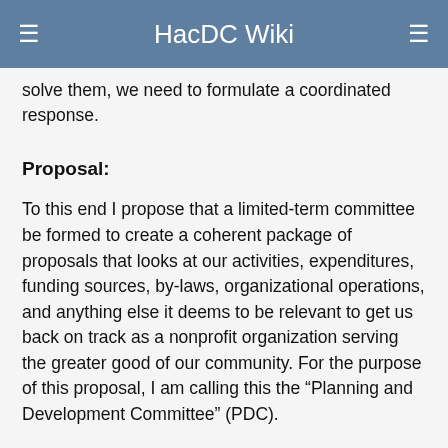HacDC Wiki
solve them, we need to formulate a coordinated response.
Proposal:
To this end I propose that a limited-term committee be formed to create a coherent package of proposals that looks at our activities, expenditures, funding sources, by-laws, organizational operations, and anything else it deems to be relevant to get us back on track as a nonprofit organization serving the greater good of our community. For the purpose of this proposal, I am calling this the “Planning and Development Committee” (PDC).
The PDC should be composed of a mix of volunteers, board members (one or more), and people recruited by